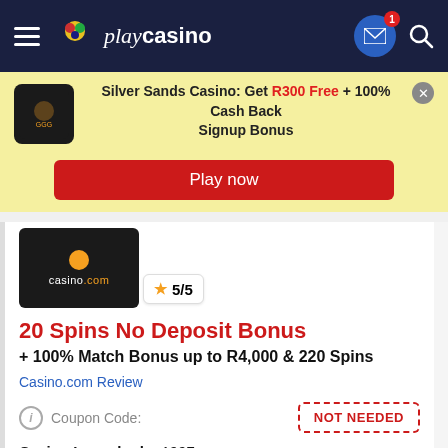playcasino
Silver Sands Casino: Get R300 Free + 100% Cash Back Signup Bonus
Play now
[Figure (logo): casino.com logo with orange dot and text]
5/5
20 Spins No Deposit Bonus
+ 100% Match Bonus up to R4,000 & 220 Spins
Casino.com Review
Coupon Code:
NOT NEEDED
Casino Launched:  1997
Play now